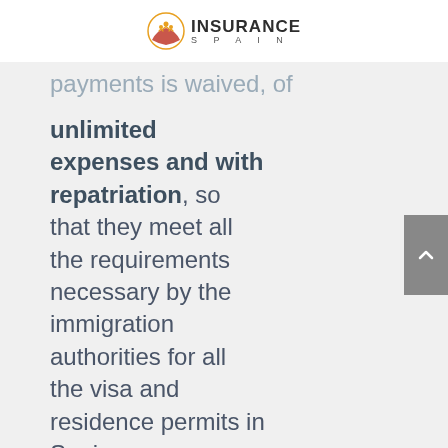INSURANCE SPAIN
unlimited expenses and with repatriation, so that they meet all the requirements necessary by the immigration authorities for all the visa and residence permits in Spain.